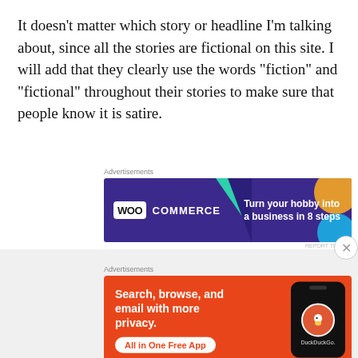It doesn't matter which story or headline I'm talking about, since all the stories are fictional on this site. I will add that they clearly use the words “fiction” and “fictional” throughout their stories to make sure that people know it is satire.
Advertisements
[Figure (screenshot): WooCommerce advertisement banner on dark purple background: 'Turn your hobby into a business in 8 steps']
Advertisements
[Figure (screenshot): DuckDuckGo advertisement banner on orange background: 'Search, browse, and email with more privacy. All in One Free App' with phone image showing DuckDuckGo logo]